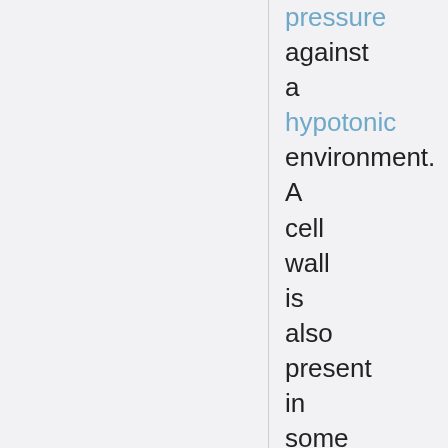pressure against a hypotonic environment. A cell wall is also present in some eukaryotes like fungi